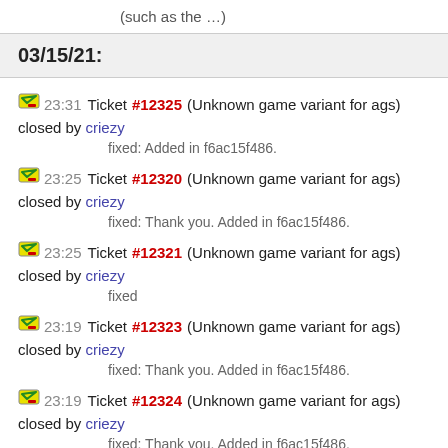(such as the …)
03/15/21:
23:31 Ticket #12325 (Unknown game variant for ags) closed by criezy
fixed: Added in f6ac15f486.
23:25 Ticket #12320 (Unknown game variant for ags) closed by criezy
fixed: Thank you. Added in f6ac15f486.
23:25 Ticket #12321 (Unknown game variant for ags) closed by criezy
fixed
23:19 Ticket #12323 (Unknown game variant for ags) closed by criezy
fixed: Thank you. Added in f6ac15f486.
23:19 Ticket #12324 (Unknown game variant for ags) closed by criezy
fixed: Thank you. Added in f6ac15f486.